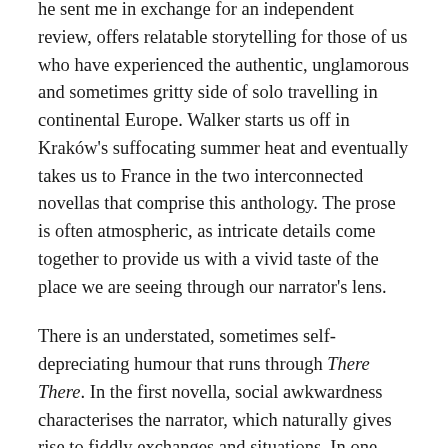he sent me in exchange for an independent review, offers relatable storytelling for those of us who have experienced the authentic, unglamorous and sometimes gritty side of solo travelling in continental Europe. Walker starts us off in Kraków's suffocating summer heat and eventually takes us to France in the two interconnected novellas that comprise this anthology. The prose is often atmospheric, as intricate details come together to provide us with a vivid taste of the place we are seeing through our narrator's lens.
There is an understated, sometimes self-depreciating humour that runs through There There. In the first novella, social awkwardness characterises the narrator, which naturally gives rise to fiddly exchanges and situations. In one scene, the narrator, a photographer hired to capture a wedding reception later in the day, engages in the time-tested activity of the solo traveller with time on his hands: he sits on the terrace of a café